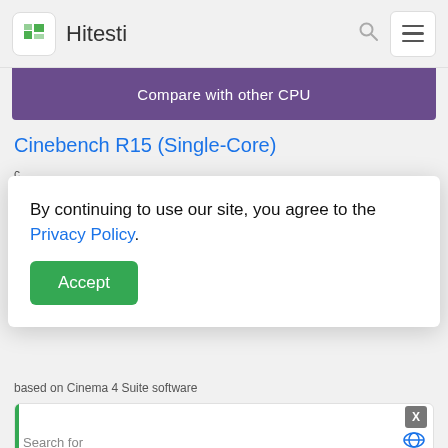Hitesti
Compare with other CPU
Cinebench R15 (Single-Core)
By continuing to use our site, you agree to the Privacy Policy.
Accept
based on Cinema 4 Suite software
Search for
1.  AMD RYZEN 9 3950X PRICE
2.  AMD RYZEN LAPTOP
Ad | Business Focus